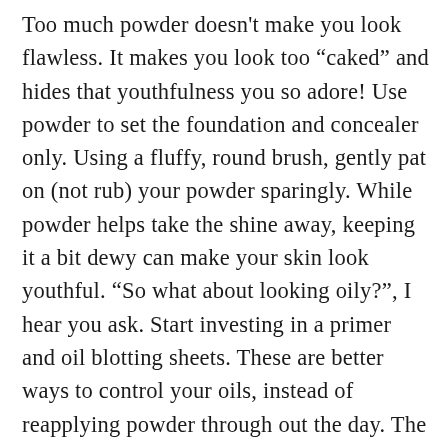Too much powder doesn't make you look flawless. It makes you look too “caked” and hides that youthfulness you so adore! Use powder to set the foundation and concealer only. Using a fluffy, round brush, gently pat on (not rub) your powder sparingly. While powder helps take the shine away, keeping it a bit dewy can make your skin look youthful. “So what about looking oily?”, I hear you ask. Start investing in a primer and oil blotting sheets. These are better ways to control your oils, instead of reapplying powder through out the day. The latter can make you super caked!